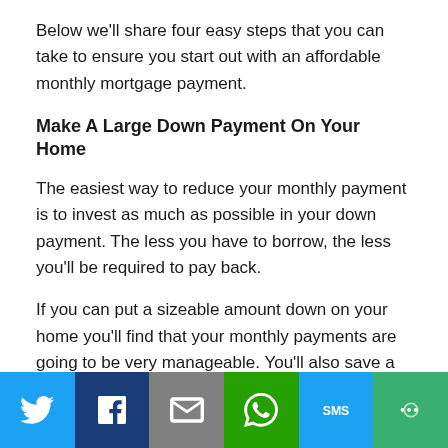Below we'll share four easy steps that you can take to ensure you start out with an affordable monthly mortgage payment.
Make A Large Down Payment On Your Home
The easiest way to reduce your monthly payment is to invest as much as possible in your down payment. The less you have to borrow, the less you'll be required to pay back.
If you can put a sizeable amount down on your home you'll find that your monthly payments are going to be very manageable. You'll also save a lot of money in interest.